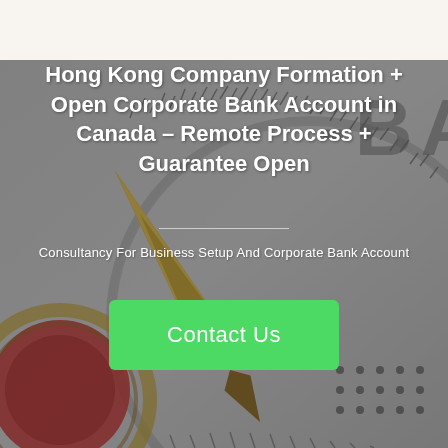[Figure (photo): A compass with a golden needle pointing upward, overlaid with a dark semi-transparent tint. The compass face shows 'BA' letters (part of 'BANK') at the top. A red and gold compass design is visible in the lower left. The background is light gray.]
Hong Kong Company Formation + Open Corporate Bank Account in Canada – Remote Process + Guarantee Open
Consultancy For Business Setup And Corporate Bank Account
Contact Us